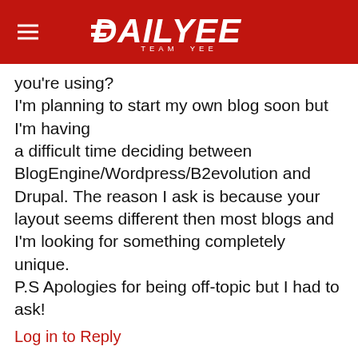DAILYEE TEAM YEE
you're using?
I'm planning to start my own blog soon but I'm having
a difficult time deciding between BlogEngine/Wordpress/B2evolution and
Drupal. The reason I ask is because your layout seems different then most blogs and I'm looking for something completely unique.
P.S Apologies for being off-topic but I had to ask!
Log in to Reply
car diagnostics  5 years ago
I absolutely love your blog and find almost all of your post's to
be exactly what I'm looking for. Would you offer guest